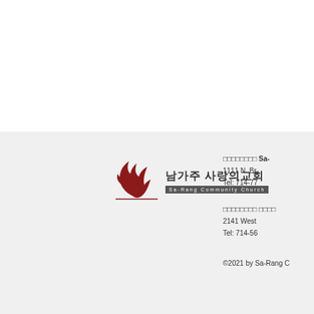[Figure (logo): Sa-Rang Community Church logo with Korean text '남가주 사랑의교회' and flame/dove graphic, with 'Sa-Rang Community Church' text bar below]
□□□□□□□□ Sa-R... 1111 N. Br... Tel: 714-77...
□□□□□□□□ □□□□... 2141 West... Tel: 714-56...
©2021 by Sa-Rang C...